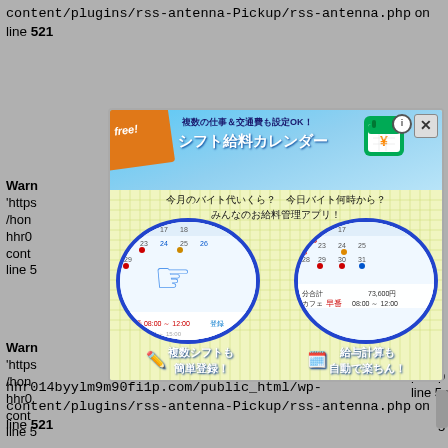content/plugins/rss-antenna-Pickup/rss-antenna.php on line 521
Warning: ... 'https://.../home/hhr0.../content/plugins/rss-antenna-Pickup/rss-antenna.php on line 5
[Figure (screenshot): Japanese app advertisement popup for 'Shift Salary Calendar' app, showing calendar screenshots and Japanese text about shift registration and salary calculation. Has a free banner ribbon and close button.]
Warning: ... 'https://.../home/hhr0.../content/plugins/rss-antenna-Pickup/rss-antenna.php on line 5
Warning: ... hhr014byylm9m90fi1p.com/public_html/wp-content/plugins/rss-antenna-Pickup/rss-antenna.php on line 521